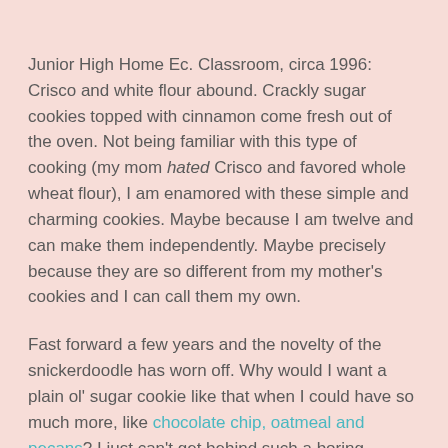Junior High Home Ec. Classroom, circa 1996: Crisco and white flour abound. Crackly sugar cookies topped with cinnamon come fresh out of the oven. Not being familiar with this type of cooking (my mom hated Crisco and favored whole wheat flour), I am enamored with these simple and charming cookies. Maybe because I am twelve and can make them independently. Maybe precisely because they are so different from my mother's cookies and I can call them my own.
Fast forward a few years and the novelty of the snickerdoodle has worn off. Why would I want a plain ol' sugar cookie like that when I could have so much more, like chocolate chip, oatmeal and pecans? I just can't get behind such a boring cookie.
Skip to the next chapter of my life, and my husband loves-- wait for it-- snickerdoodles. I recently made a batch for him, and while they're still not my favorite, I will say that they have a certain appeal. They are buttery, sweet, crunchy around...